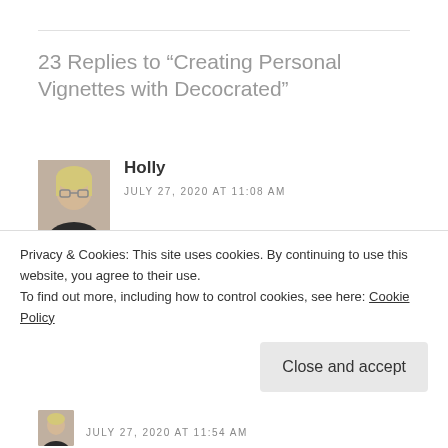23 Replies to “Creating Personal Vignettes with Decocrated”
Holly
JULY 27, 2020 AT 11:08 AM
This is an amazing idea! I love the idea of an area of my own, with the things I like about the seasons! Decorated has some amazing thing! Thank you for the discount!
Privacy & Cookies: This site uses cookies. By continuing to use this website, you agree to their use.
To find out more, including how to control cookies, see here: Cookie Policy
Close and accept
JULY 27, 2020 AT 11:54 AM